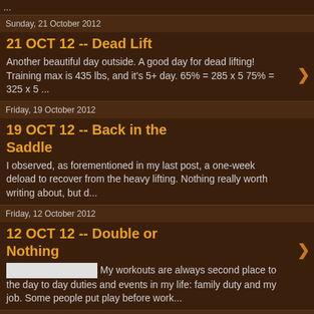...
Sunday, 21 October 2012
21 OCT 12 -- Dead Lift
Another beautiful day outside. A good day for dead lifting! Training max is 435 lbs, and it's 5+ day. 65% = 285 x 5 75% = 325 x 5 ...
Friday, 19 October 2012
19 OCT 12 -- Back in the Saddle
I observed, as forementioned in my last post, a one-week deload to recover from the heavy lifting. Nothing really worth writing about, but d...
Friday, 12 October 2012
12 OCT 12 -- Double or Nothing
My workouts are always second place to the day to day duties and events in my life: family duty and my job. Some people put play before work...
Wednesday, 10 October 2012